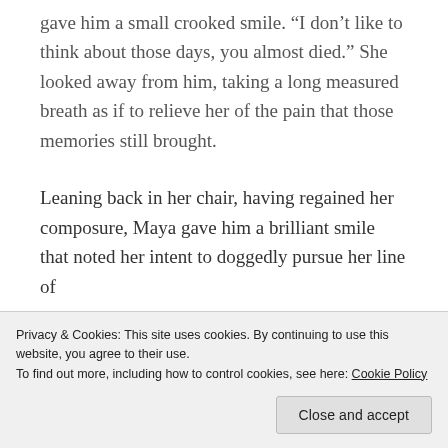gave him a small crooked smile. “I don’t like to think about those days, you almost died.” She looked away from him, taking a long measured breath as if to relieve her of the pain that those memories still brought.
Leaning back in her chair, having regained her composure, Maya gave him a brilliant smile that noted her intent to doggedly pursue her line of
Privacy & Cookies: This site uses cookies. By continuing to use this website, you agree to their use.
To find out more, including how to control cookies, see here: Cookie Policy
Close and accept